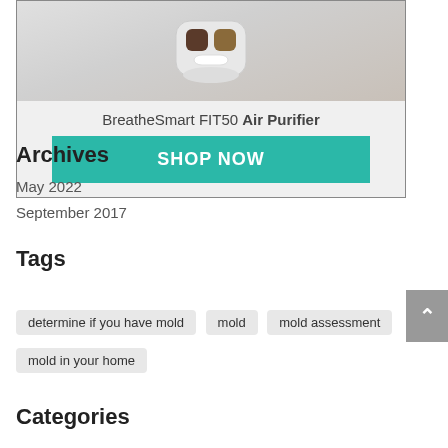[Figure (photo): BreatheSmart FIT50 Air Purifier product image and advertisement with a teal SHOP NOW button]
Archives
May 2022
September 2017
Tags
determine if you have mold
mold
mold assessment
mold in your home
Categories